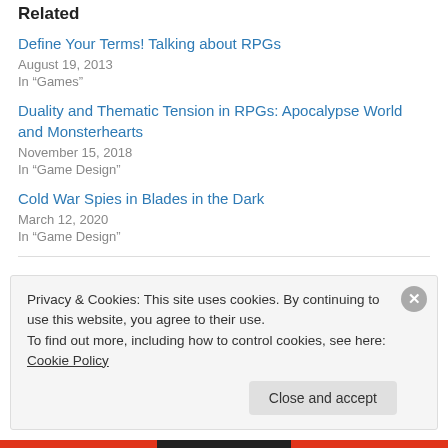Related
Define Your Terms! Talking about RPGs
August 19, 2013
In "Games"
Duality and Thematic Tension in RPGs: Apocalypse World and Monsterhearts
November 15, 2018
In "Game Design"
Cold War Spies in Blades in the Dark
March 12, 2020
In "Game Design"
Privacy & Cookies: This site uses cookies. By continuing to use this website, you agree to their use. To find out more, including how to control cookies, see here: Cookie Policy
Close and accept